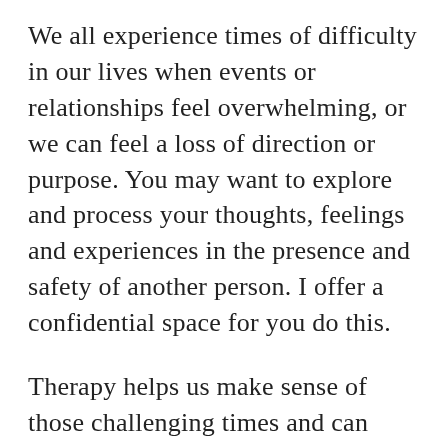We all experience times of difficulty in our lives when events or relationships feel overwhelming, or we can feel a loss of direction or purpose. You may want to explore and process your thoughts, feelings and experiences in the presence and safety of another person. I offer a confidential space for you do this.
Therapy helps us make sense of those challenging times and can enhance self-awareness on your personal journey. It can offer you a better understanding of yourself, empowering you to make the